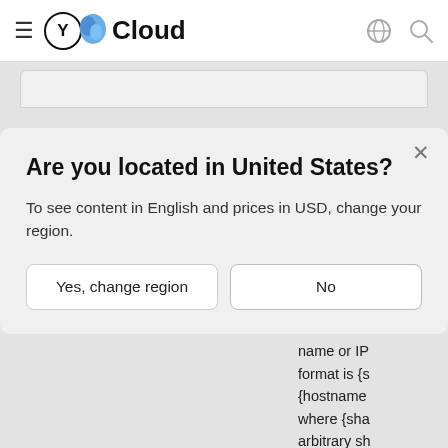≡ Y Cloud
Are you located in United States?
To see content in English and prices in USD, change your region.
Yes, change region
No
Clickhouse name or IP format is {s {hostname where {sha arbitrary sh host belon itself is spe the backsla as \